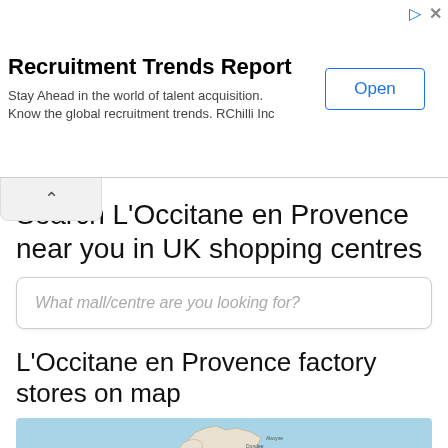[Figure (screenshot): Advertisement banner for Recruitment Trends Report by RChilli Inc with an Open button]
Search L'Occitane en Provence near you in UK shopping centres
What mall/centre are you looking for?
L'Occitane en Provence factory stores on map
[Figure (map): Map of the United Kingdom showing L'Occitane en Provence factory store locations marked with colored pins (blue and yellow/red), covering Scotland, England and surrounding regions including cities like Glasgow, Edinburgh, Newcastle, Leeds]